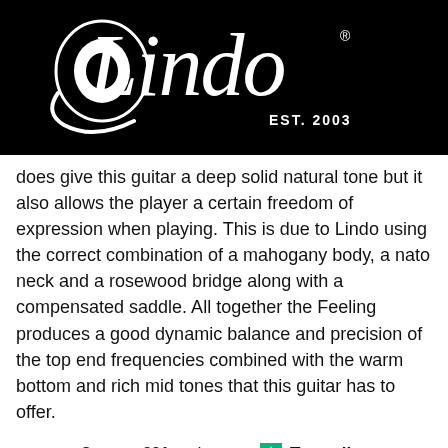[Figure (logo): Lindo brand logo in white on black background, cursive script with EST. 2003]
does give this guitar a deep solid natural tone but it also allows the player a certain freedom of expression when playing. This is due to Lindo using the correct combination of a mahogany body, a nato neck and a rosewood bridge along with a compensated saddle. All together the Feeling produces a good dynamic balance and precision of the top end frequencies combined with the warm bottom and rich mid tones that this guitar has to offer.
See our 321 reviews on Trustpilot
Sign In / Register
Contact Us